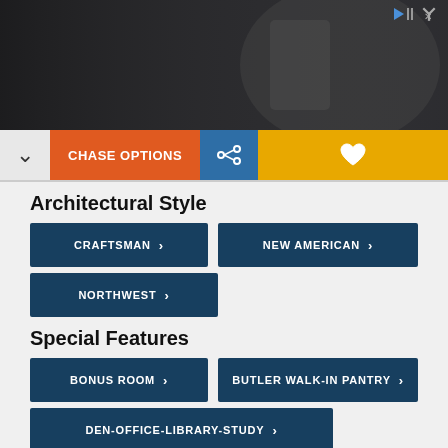[Figure (photo): Advertisement banner showing a person with a scooter and text 'Download Helbiz and ride']
CHASE OPTIONS | share icon | favorite icon (toolbar buttons)
Architectural Style
CRAFTSMAN
NEW AMERICAN
NORTHWEST
Special Features
BONUS ROOM
BUTLER WALK-IN PANTRY
DEN-OFFICE-LIBRARY-STUDY
JACK & JILL BATH
LOFT